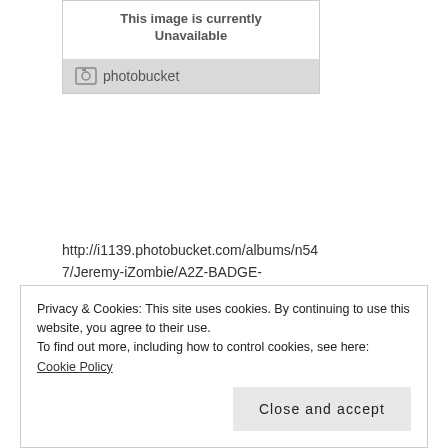[Figure (screenshot): Photobucket unavailable image placeholder with grey background and photobucket logo/wordmark]
http://i1139.photobucket.com/albums/n547/Jeremy-iZombie/A2Z-BADGE-0002015-LifeisGood-230_zps660c38a0.jpg
2018
Privacy & Cookies: This site uses cookies. By continuing to use this website, you agree to their use.
To find out more, including how to control cookies, see here: Cookie Policy
Close and accept